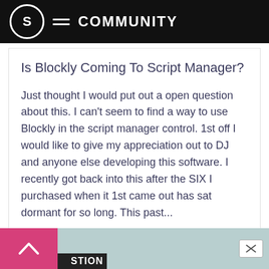S COMMUNITY
Is Blockly Coming To Script Manager?
Just thought I would put out a open question about this. I can't seem to find a way to use Blockly in the script manager control. 1st off I would like to give my appreciation out to DJ and anyone else developing this software. I recently got back into this after the SIX I purchased when it 1st came out has sat dormant for so long. This past...
0  910  SIRLAL | Apr 2018